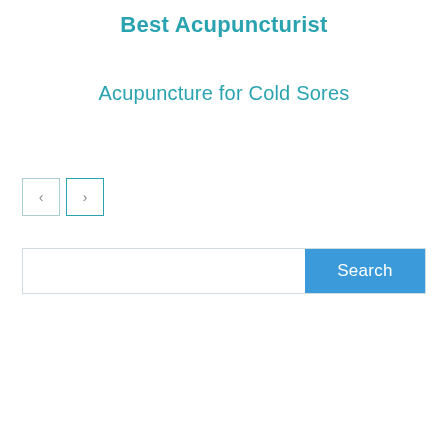Best Acupuncturist
Acupuncture for Cold Sores
[Figure (other): Navigation previous and next arrow buttons]
[Figure (other): Search bar with text input field and Search button]